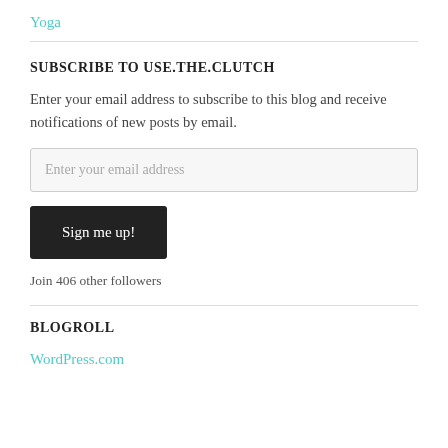Yoga
SUBSCRIBE TO USE.THE.CLUTCH
Enter your email address to subscribe to this blog and receive notifications of new posts by email.
Enter your email address
Sign me up!
Join 406 other followers
BLOGROLL
WordPress.com